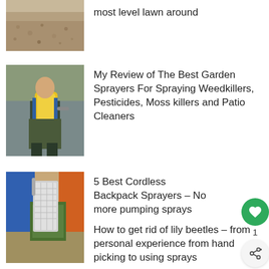[Figure (photo): Sandy/soil material photo (partial, top of page)]
most level lawn around
[Figure (photo): Person holding a yellow garden sprayer backpack]
My Review of The Best Garden Sprayers For Spraying Weedkillers, Pesticides, Moss killers and Patio Cleaners
[Figure (photo): Cordless backpack sprayer leaning against blue and orange containers outdoors]
5 Best Cordless Backpack Sprayers – No more pumping sprays
How to get rid of lily beetles – from personal experience from hand picking to using sprays